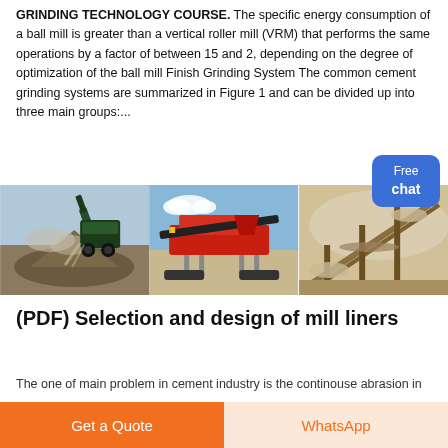GRINDING TECHNOLOGY COURSE. The specific energy consumption of a ball mill is greater than a vertical roller mill (VRM) that performs the same operations by a factor of between 15 and 2, depending on the degree of optimization of the ball mill Finish Grinding System The common cement grinding systems are summarized in Figure 1 and can be divided up into three main groups:...
[Figure (photo): Three industrial cement grinding / ball mill machinery images side by side: left shows a mobile crusher pouring material onto a pile, center shows red mobile crushing/screening plant on a sandy site, right shows a conveyor belt system in a dusty environment.]
(PDF) Selection and design of mill liners
The one of main problem in cement industry is the continouse abrasion in
Free chat
Get a Quote
WhatsApp